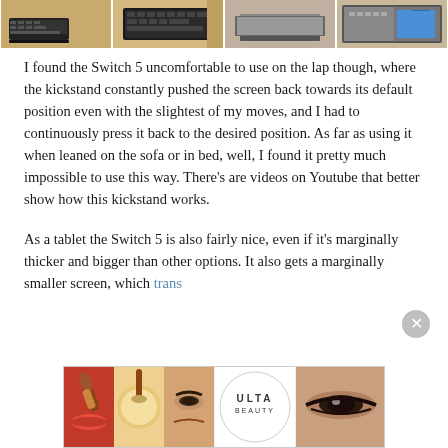[Figure (photo): Strip of four photos showing laptops/tablets on wooden surface]
I found the Switch 5 uncomfortable to use on the lap though, where the kickstand constantly pushed the screen back towards its default position even with the slightest of my moves, and I had to continuously press it back to the desired position. As far as using it when leaned on the sofa or in bed, well, I found it pretty much impossible to use this way. There's are videos on Youtube that better show how this kickstand works.
As a tablet the Switch 5 is also fairly nice, even if it's marginally thicker and bigger than other options. It also gets a marginally smaller screen, which trans[lates...]
[Figure (photo): Ulta Beauty advertisement banner with makeup photos and SHOP NOW call to action]